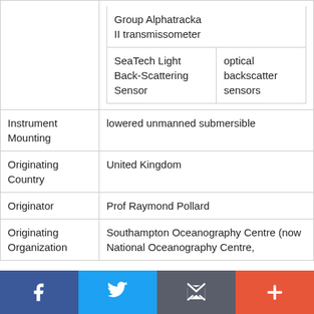| Field | Value |
| --- | --- |
|  | Group Alphatracka II transmissometer
SeaTech Light Back-Scattering Sensor	optical backscatter sensors |
| Instrument Mounting | lowered unmanned submersible |
| Originating Country | United Kingdom |
| Originator | Prof Raymond Pollard |
| Originating Organization | Southampton Oceanography Centre (now National Oceanography Centre, |